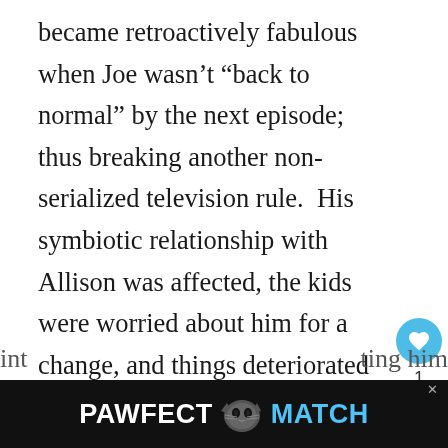became retroactively fabulous when Joe wasn’t “back to normal” by the next episode; thus breaking another non-serialized television rule.  His symbiotic relationship with Allison was affected, the kids were worried about him for a change, and things deteriorated to the point that he eventually lost his job in the Season Finale!
This is not the Joe we know and trust; but that is not necessarily a bad thing.  Throwing Joe
[Figure (screenshot): Advertisement banner for 'PAWFECT MATCH' with a cat face icon, white and cyan text on dark background, with a close X button]